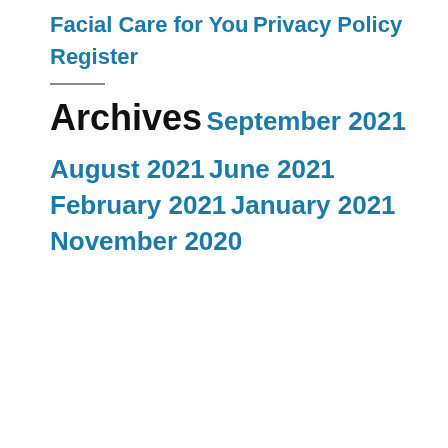Facial Care for You
Privacy Policy
Register
Archives
September 2021
August 2021
June 2021
February 2021
January 2021
November 2020